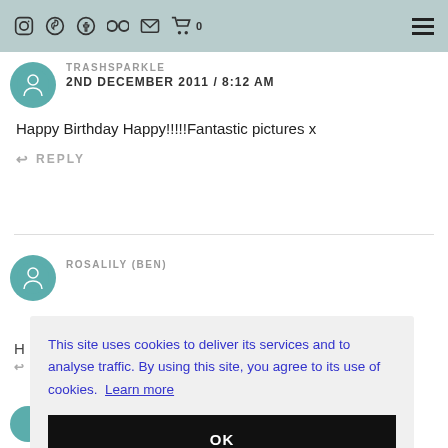TRASHSPARKLE — navigation icons and hamburger menu
TRASHSPARKLE
2ND DECEMBER 2011 / 8:12 AM
Happy Birthday Happy!!!!!Fantastic pictures x
↩ REPLY
ROSALILY (BEN)
This site uses cookies to deliver its services and to analyse traffic. By using this site, you agree to its use of cookies. Learn more
OK
2ND DECEMBER 2011 / 8:05 AM